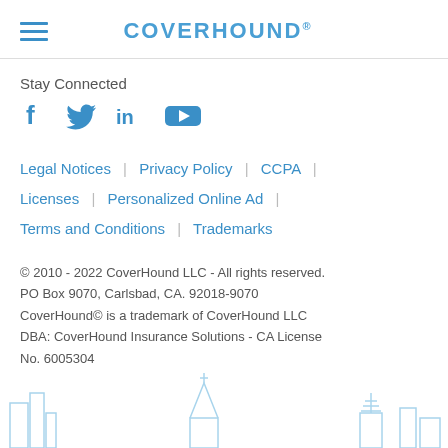COVERHOUND®
Stay Connected
[Figure (infographic): Social media icons: Facebook, Twitter, LinkedIn, YouTube in blue]
Legal Notices | Privacy Policy | CCPA | Licenses | Personalized Online Ad | Terms and Conditions | Trademarks
© 2010 - 2022 CoverHound LLC - All rights reserved. PO Box 9070, Carlsbad, CA. 92018-9070 CoverHound© is a trademark of CoverHound LLC DBA: CoverHound Insurance Solutions - CA License No. 6005304
[Figure (illustration): Light blue city skyline silhouette at the bottom of the page]